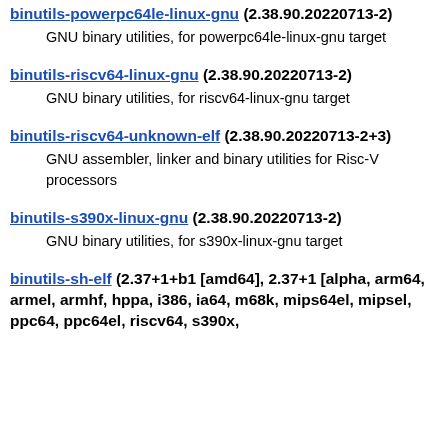binutils-powerpc64le-linux-gnu (2.38.90.20220713-2)
GNU binary utilities, for powerpc64le-linux-gnu target
binutils-riscv64-linux-gnu (2.38.90.20220713-2)
GNU binary utilities, for riscv64-linux-gnu target
binutils-riscv64-unknown-elf (2.38.90.20220713-2+3)
GNU assembler, linker and binary utilities for Risc-V processors
binutils-s390x-linux-gnu (2.38.90.20220713-2)
GNU binary utilities, for s390x-linux-gnu target
binutils-sh-elf (2.37+1+b1 [amd64], 2.37+1 [alpha, arm64, armel, armhf, hppa, i386, ia64, m68k, mips64el, mipsel, ppc64, ppc64el, riscv64, s390x,